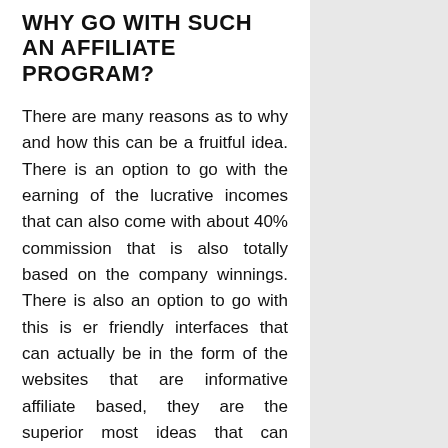WHY GO WITH SUCH AN AFFILIATE PROGRAM?
There are many reasons as to why and how this can be a fruitful idea. There is an option to go with the earning of the lucrative incomes that can also come with about 40% commission that is also totally based on the company winnings. There is also an option to go with this is er friendly interfaces that can actually be in the form of the websites that are informative affiliate based, they are the superior most ideas that can actually help with the check of the performances, use of the